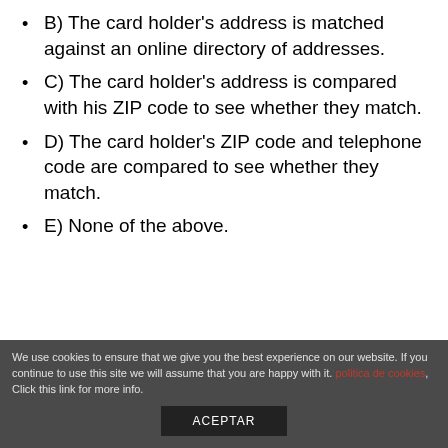B) The card holder's address is matched against an online directory of addresses.
C) The card holder's address is compared with his ZIP code to see whether they match.
D) The card holder's ZIP code and telephone code are compared to see whether they match.
E) None of the above.
17.) What is the speed of a T-1 internet connection?
We use cookies to ensure that we give you the best experience on our website. If you continue to use this site we will assume that you are happy with it. politica de cookies, Click this link for more info.